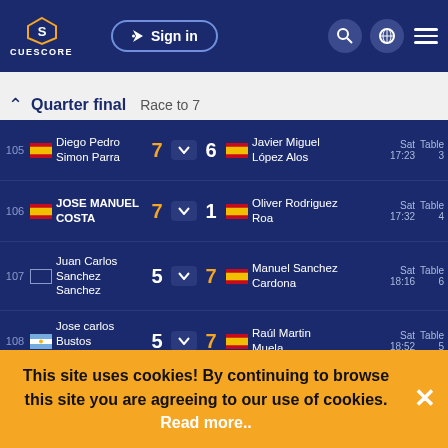CUESCORE — Sign in
Quarter final  Race to 7
| # | Player 1 | Score 1 |  | Score 2 | Player 2 | Time | Table |
| --- | --- | --- | --- | --- | --- | --- | --- |
| 105 | Diego Pedro Simon Parra (ESP) | 7 | v | 6 | Javier Miguel López Alos (ESP) | Sat 17:23 | Table 3 |
| 106 | JOSE MANUEL COSTA (ESP) | 7 | v | 1 | Oliver Rodriguez Roa (ESP) | Sat 17:32 | Table 4 |
| 107 | Juan Carlos Sanchez Sanchez | 5 | v | 7 | Manuel Sanchez Cardona (ESP) | Sat 18:16 | Table 6 |
| 108 | Jose carlos Bustos tempesti (ARG) | 5 | v | 7 | Raúl Martin Muela (ESP) | Sat 18:52 | Table 5 |
Semi final  Race to 7
This site uses cookies! By continuing to browse this site you are agreeing to our use of cookies. Read more..